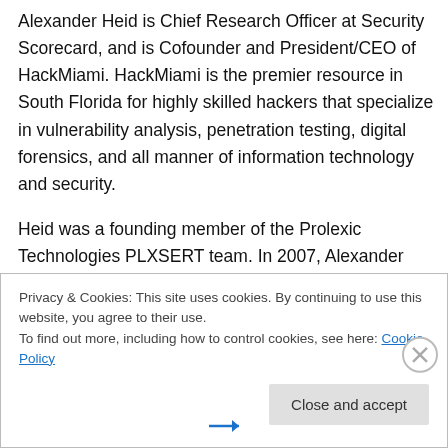Alexander Heid is Chief Research Officer at Security Scorecard, and is Cofounder and President/CEO of HackMiami. HackMiami is the premier resource in South Florida for highly skilled hackers that specialize in vulnerability analysis, penetration testing, digital forensics, and all manner of information technology and security.
Heid was a founding member of the Prolexic Technologies PLXSERT team. In 2007, Alexander Heid founded the Information Security Services, Inc. a full service information technology and information consulting firm.
Privacy & Cookies: This site uses cookies. By continuing to use this website, you agree to their use.
To find out more, including how to control cookies, see here: Cookie Policy